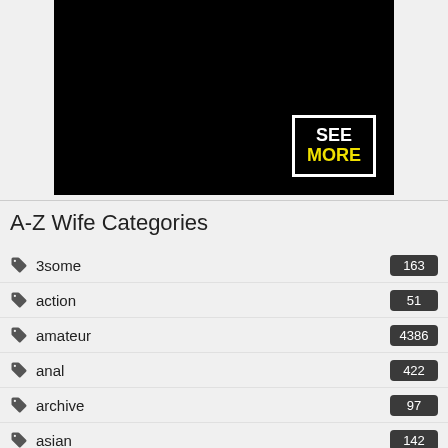[Figure (screenshot): Black video player area with 'SEE MORE' overlay button in white border at bottom right]
A-Z Wife Categories
3some 163
action 51
amateur 4386
anal 422
archive 97
asian 142
ass 499
ass fuck 266